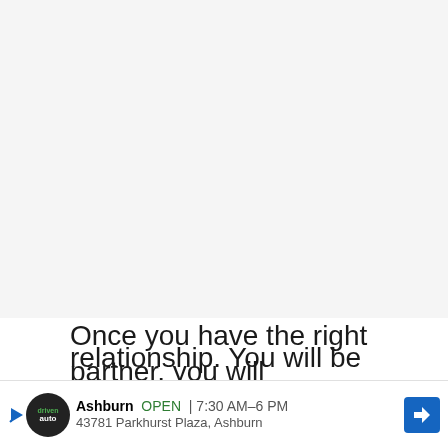Once you have the right partner, you will establish a happy and fruitful relationship. You will be able to invest... will
[Figure (screenshot): Advertisement banner: Driven Auto logo, Ashburn OPEN 7:30AM-6PM, 43781 Parkhurst Plaza, Ashburn, with navigation arrow icon]